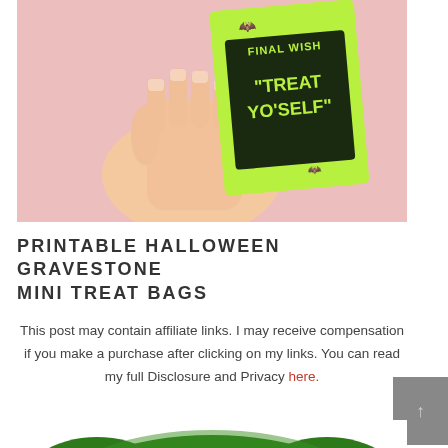[Figure (photo): Hand holding a lime-green Halloween gravestone mini treat bag with 'FINAL WISH' and '"TREAT YO'SELF"' text on it, against a pink shredded paper background.]
PRINTABLE HALLOWEEN GRAVESTONE MINI TREAT BAGS
This post may contain affiliate links. I may receive compensation if you make a purchase after clicking on my links. You can read my full Disclosure and Privacy here.
[Figure (photo): Green glittery Halloween mask at the bottom of the page.]